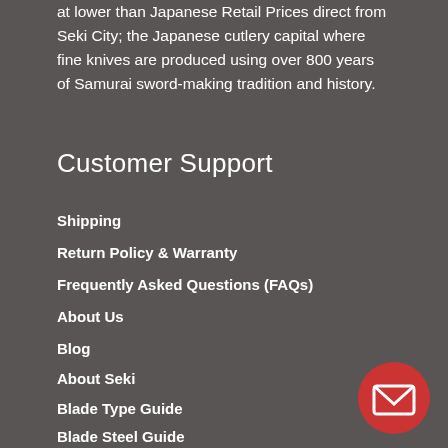at lower than Japanese Retail Prices direct from Seki City; the Japanese cutlery capital where fine knives are produced using over 800 years of Samurai sword-making tradition and history.
Customer Support
Shipping
Return Policy & Warranty
Frequently Asked Questions (FAQs)
About Us
Blog
About Seki
Blade Type Guide
Blade Steel Guide
[Figure (illustration): Red circular email/contact button with envelope icon]